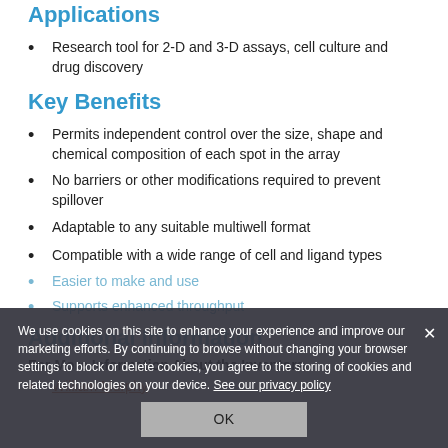Applications
Research tool for 2-D and 3-D assays, cell culture and drug discovery
Key Benefits
Permits independent control over the size, shape and chemical composition of each spot in the array
No barriers or other modifications required to prevent spillover
Adaptable to any suitable multiwell format
Compatible with a wide range of cell and ligand types
Easier to make and use
Supports enhanced throughput
Additional Information
For More Information About the Inventors
William Murphy
We use cookies on this site to enhance your experience and improve our marketing efforts. By continuing to browse without changing your browser settings to block or delete cookies, you agree to the storing of cookies and related technologies on your device. See our privacy policy